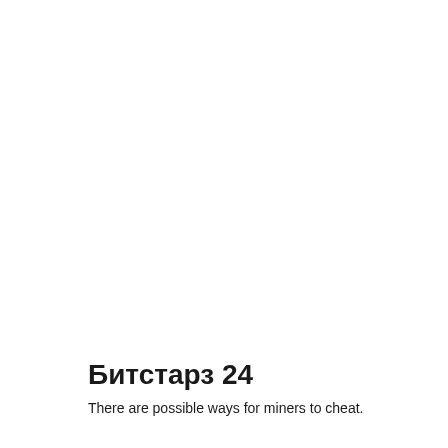Битстарз 24
There are possible ways for miners to cheat.